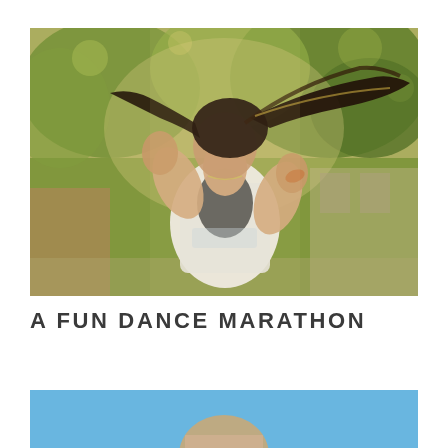[Figure (photo): A woman dancing outdoors with her hair flying, wearing a white and black tank top, arms raised joyfully, with blurred green trees in the background. Warm, golden-toned outdoor photo.]
A FUN DANCE MARATHON
[Figure (photo): Partial view of another photo at the bottom of the page, showing a person outdoors against a blue sky background, cropped at the bottom edge.]